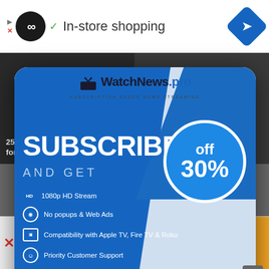[Figure (screenshot): Top ad banner with play/infinity icons, In-store shopping text, and blue navigation diamond icon]
250000 U.S. Kids Tested Positive for Coronavirus Last
Twenty Percent of American
[Figure (infographic): WatchNews.pro popup advertisement showing SUBSCRIBE AND GET with 30% off circle, featuring 1080p HD Stream, No popups & Web Ads, Compatibility with Apple TV Fire TV & Roku, Priority Customer Support, and website wwww.watchnews.pro]
[Figure (infographic): Bottom ad banner: The perfect gift with 35% OFF + FREE SHIPPING badge]